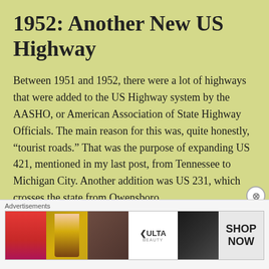1952: Another New US Highway
Between 1951 and 1952, there were a lot of highways that were added to the US Highway system by the AASHO, or American Association of State Highway Officials. The main reason for this was, quite honestly, “tourist roads.” That was the purpose of expanding US 421, mentioned in my last post, from Tennessee to Michigan City. Another addition was US 231, which crosses the state from Owensboro,
Advertisements